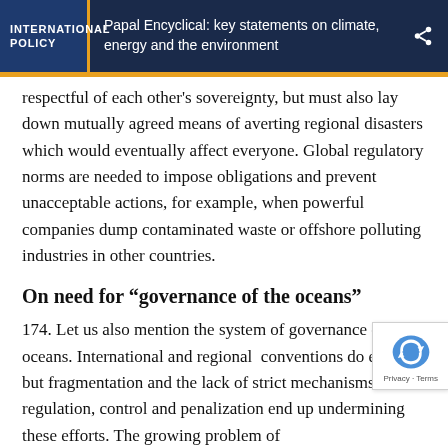INTERNATIONAL POLICY | Papal Encyclical: key statements on climate, energy and the environment
respectful of each other's sovereignty, but must also lay down mutually agreed means of averting regional disasters which would eventually affect everyone. Global regulatory norms are needed to impose obligations and prevent unacceptable actions, for example, when powerful companies dump contaminated waste or offshore polluting industries in other countries.
On need for “governance of the oceans”
174. Let us also mention the system of governance of the oceans. International and regional conventions do exist, but fragmentation and the lack of strict mechanisms of regulation, control and penalization end up undermining these efforts. The growing problem of